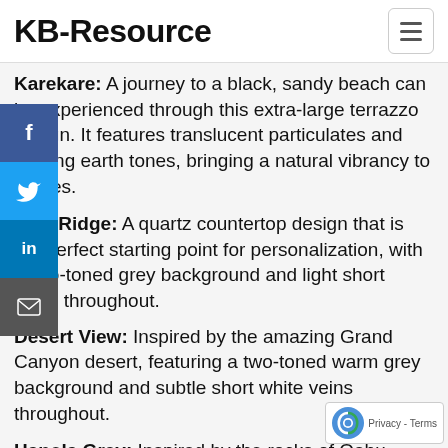KB-Resource
Karekare: A journey to a black, sandy beach can be experienced through this extra-large terrazzo design. It features translucent particulates and varying earth tones, bringing a natural vibrancy to homes.
Trail Ridge: A quartz countertop design that is the perfect starting point for personalization, with a two-toned grey background and light short veins throughout.
Desert View: Inspired by the amazing Grand Canyon desert, featuring a two-toned warm grey background and subtle short white veins throughout.
Hanola Grey: Inspired by the rocks of Oahu, Hawaii, this peaceful design is two-toned dark grey with undertones of brown. Wispy white veins evoke a of water with glistening waves.